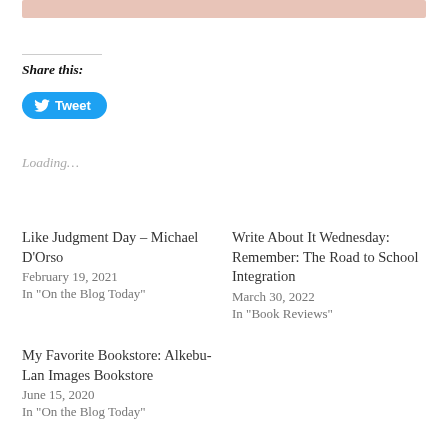[Figure (other): Decorative salmon/pink top bar]
Share this:
[Figure (other): Tweet button with Twitter bird icon]
Loading...
Like Judgment Day – Michael D'Orso
February 19, 2021
In "On the Blog Today"
Write About It Wednesday: Remember: The Road to School Integration
March 30, 2022
In "Book Reviews"
My Favorite Bookstore: Alkebu-Lan Images Bookstore
June 15, 2020
In "On the Blog Today"